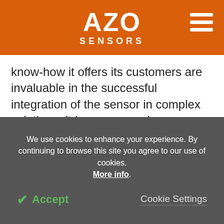AZO SENSORS
know-how it offers its customers are invaluable in the successful integration of the sensor in complex solutions. It has once again developed the smallest sensor with the biggest performance on the market with the SHTW1 humidity and temperature sensor. Combined with first-rate implementation support, Sensirion is undoubtedly a step ahead of the competition.
We use cookies to enhance your experience. By continuing to browse this site you agree to our use of cookies. More info.
✓ Accept
Cookie Settings